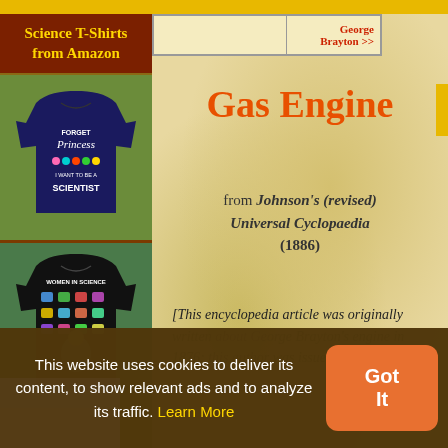George Brayton >>
Science T-Shirts from Amazon
[Figure (photo): Navy blue t-shirt with 'Forget Princess I want to be a Scientist' text and science-themed graphics]
[Figure (photo): Black t-shirt with 'Women in Science' text and science icons grid]
Gas Engine
from Johnson's (revised) Universal Cyclopaedia (1886)
[This encyclopedia article was originally written about George Brayton's engine in 1876; this author was issued a patent for
This website uses cookies to deliver its content, to show relevant ads and to analyze its traffic. Learn More
Got It